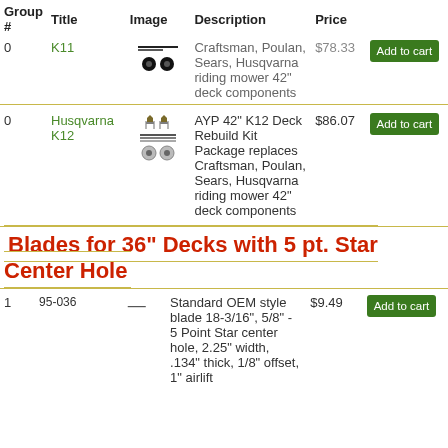| Group # | Title | Image | Description | Price |  |
| --- | --- | --- | --- | --- | --- |
| 0 | K11 | [image] | Craftsman, Poulan, Sears, Husqvarna riding mower 42" deck components | $78.33 | Add to cart |
| 0 | Husqvarna K12 | [image] | AYP 42" K12 Deck Rebuild Kit Package replaces Craftsman, Poulan, Sears, Husqvarna riding mower 42" deck components | $86.07 | Add to cart |
Blades for 36" Decks with 5 pt. Star Center Hole
| Group # | Title | Image | Description | Price |  |
| --- | --- | --- | --- | --- | --- |
| 1 | 95-036 | — | Standard OEM style blade 18-3/16", 5/8" - 5 Point Star center hole, 2.25" width, .134" thick, 1/8" offset, 1" airlift | $9.49 | Add to cart |